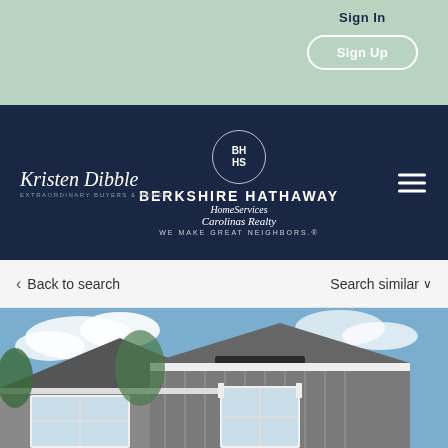Sign In
Sign Up
[Figure (logo): Berkshire Hathaway HomeServices Carolinas Realty logo with circular BH HS emblem and text 'WE MAKE GREAT NEIGHBORS.' Agent branding for Kristen Dibble.]
Back to search
Search similar
[Figure (photo): Exterior photo of a modern farmhouse-style home with gray board-and-batten siding, white trim windows, and a metal roof accent over a front window bay, against a blue sky.]